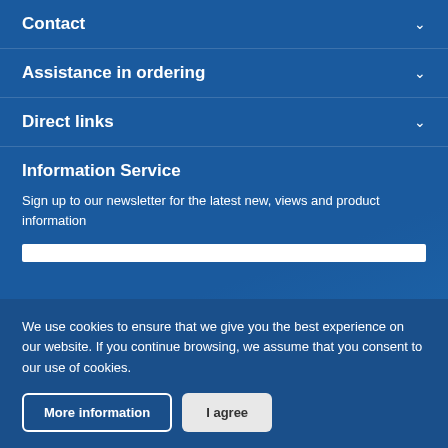Contact
Assistance in ordering
Direct links
Information Service
Sign up to our newsletter for the latest new, views and product information
We use cookies to ensure that we give you the best experience on our website. If you continue browsing, we assume that you consent to our use of cookies.